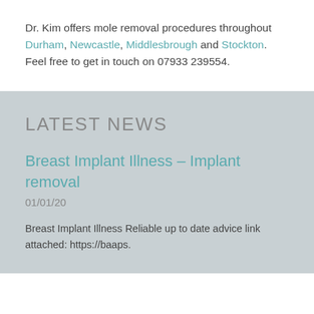Dr. Kim offers mole removal procedures throughout Durham, Newcastle, Middlesbrough and Stockton. Feel free to get in touch on 07933 239554.
LATEST NEWS
Breast Implant Illness – Implant removal
01/01/20
Breast Implant Illness Reliable up to date advice link attached: https://baaps.